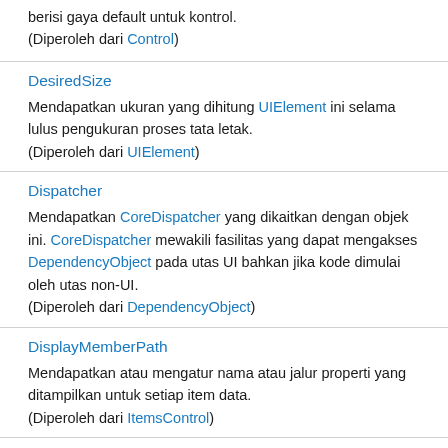berisi gaya default untuk kontrol.
(Diperoleh dari Control)
DesiredSize
Mendapatkan ukuran yang dihitung UIElement ini selama lulus pengukuran proses tata letak.
(Diperoleh dari UIElement)
Dispatcher
Mendapatkan CoreDispatcher yang dikaitkan dengan objek ini. CoreDispatcher mewakili fasilitas yang dapat mengakses DependencyObject pada utas UI bahkan jika kode dimulai oleh utas non-UI.
(Diperoleh dari DependencyObject)
DisplayMemberPath
Mendapatkan atau mengatur nama atau jalur properti yang ditampilkan untuk setiap item data.
(Diperoleh dari ItemsControl)
ElementSoundMode